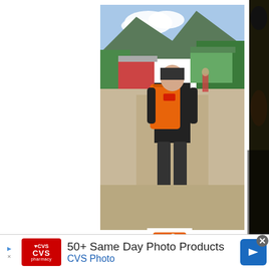[Figure (photo): Person wearing black shirt with orange backpack walking away from camera on a village road, mountains and buildings in background. Oxfam Relief worker.]
[Figure (photo): Advertisement showing saddleback tamarin monkeys clinging to a tree with text overlay 'Help safeguard the forest homes of the saddleback tamarin.']
[Figure (logo): Oxfam logo - orange and green leaf/dove symbol]
[Figure (photo): CVS Pharmacy advertisement banner. CVS Pharmacy red logo on left, text '50+ Same Day Photo Products' and 'CVS Photo' in blue, navigation arrow on right. Small skip/close controls on far left.]